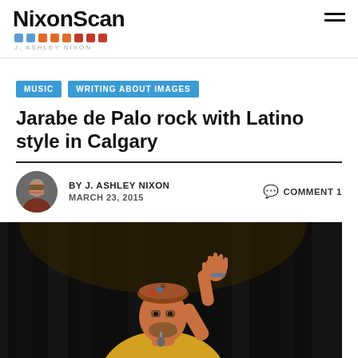NixonScan
MUSIC | WRITING ABOUT IMAGES
Jarabe de Palo rock with Latino style in Calgary
BY J. ASHLEY NIXON   COMMENT 1   MARCH 23, 2015
[Figure (photo): A performer on stage wearing a yellow shirt and brown beret, gesturing with one hand raised, singing into a microphone, against a dark curtain background.]